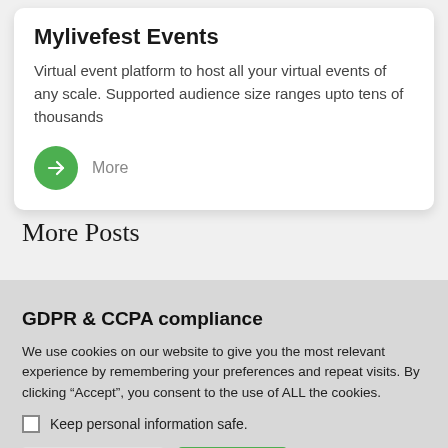Mylivefest Events
Virtual event platform to host all your virtual events of any scale. Supported audience size ranges upto tens of thousands
More
More Posts
GDPR & CCPA compliance
We use cookies on our website to give you the most relevant experience by remembering your preferences and repeat visits. By clicking “Accept”, you consent to the use of ALL the cookies.
Keep personal information safe.
Cookie Settings
Accept